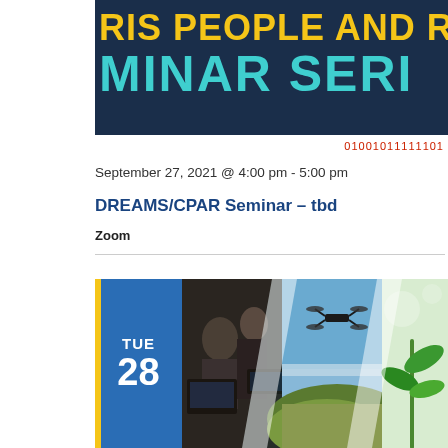[Figure (other): Banner header with dark navy background showing partial text 'RIS PEOPLE AND ROB' in yellow and 'MINAR SERI' in teal/cyan, representing a seminar series title]
01001011111101
September 27, 2021 @ 4:00 pm - 5:00 pm
DREAMS/CPAR Seminar – tbd
Zoom
[Figure (photo): Composite image strip showing three diagonal panels: left panel with people working at computers/equipment, center panel with a drone flying over hilly landscape, right panel with green plant seedling close-up. A blue date badge showing TUE 28 overlaps the left side with a yellow vertical accent bar.]